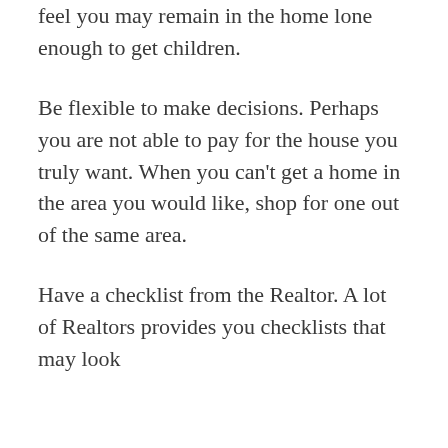feel you may remain in the home lone enough to get children.
Be flexible to make decisions. Perhaps you are not able to pay for the house you truly want. When you can't get a home in the area you would like, shop for one out of the same area.
Have a checklist from the Realtor. A lot of Realtors provides you checklists that may look